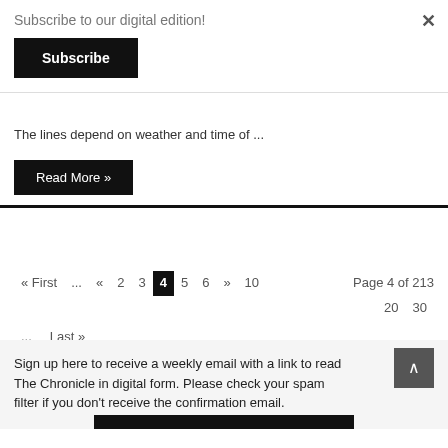Subscribe to our digital edition!
Subscribe
×
The lines depend on weather and time of ...
Read More »
« First  ...  «  2  3  4  5  6  »  10  Page 4 of 213  20  30  ...  Last »
Sign up here to receive a weekly email with a link to read The Chronicle in digital form. Please check your spam filter if you don't receive the confirmation email.